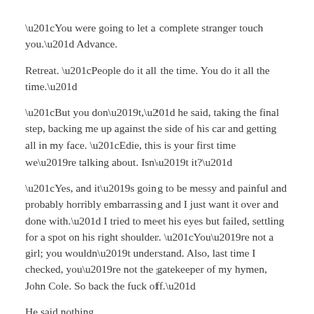“You were going to let a complete stranger touch you.” Advance.
Retreat. “People do it all the time. You do it all the time.”
“But you don’t,” he said, taking the final step, backing me up against the side of his car and getting all in my face. “Edie, this is your first time we’re talking about. Isn’t it?”
“Yes, and it’s going to be messy and painful and probably horribly embarrassing and I just want it over and done with.” I tried to meet his eyes but failed, settling for a spot on his right shoulder. “You’re not a girl; you wouldn’t understand. Also, last time I checked, you’re not the gatekeeper of my hymen, John Cole. So back the fuck off.”
He said nothing.
Deep, calming breaths. “Look, someday I’ll meet someone I really like and we’ll have a deep and meaningful relationship and go at it like bunnies. But I don’t want to be the dumb virgin in that scenario.”
He slowly shook his head.